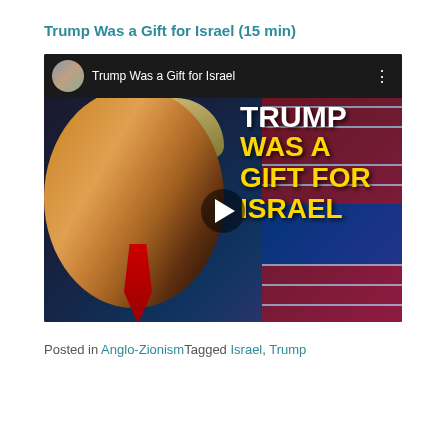Trump Was a Gift for Israel (15 min)
[Figure (screenshot): YouTube video thumbnail showing Trump Was a Gift for Israel video with a photo of Donald Trump and bold text overlay reading TRUMP WAS A GIFT FOR ISRAEL in white and yellow letters, with a play button in the center. The video header shows a channel avatar and the title 'Trump Was a Gift for Israel' with a three-dot menu.]
Posted in Anglo-ZionismTagged Israel, Trump